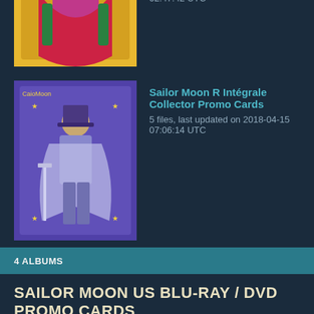Sailor Moon Sailor Stars Intégrale Collector Promo Cards
5 files, last updated on 2018-04-01 02:47:42 UTC
Sailor Moon R Intégrale Collector Promo Cards
5 files, last updated on 2018-04-15 07:06:14 UTC
4 ALBUMS
SAILOR MOON US BLU-RAY / DVD PROMO CARDS
Sailor Moon Season 1 Bluray / DVD Combo Promo Cards
12 files, last updated on 2018-04-29 04:18:52 UTC